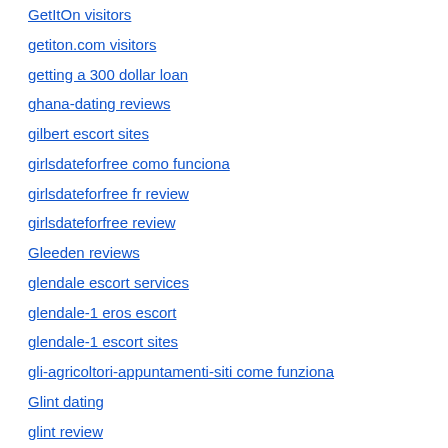GetItOn visitors
getiton.com visitors
getting a 300 dollar loan
ghana-dating reviews
gilbert escort sites
girlsdateforfree como funciona
girlsdateforfree fr review
girlsdateforfree review
Gleeden reviews
glendale escort services
glendale-1 eros escort
glendale-1 escort sites
gli-agricoltori-appuntamenti-siti come funziona
Glint dating
glint review
Gluten Free Dating online
good grief sign in
good payday loans
grand rapids city USA reviews